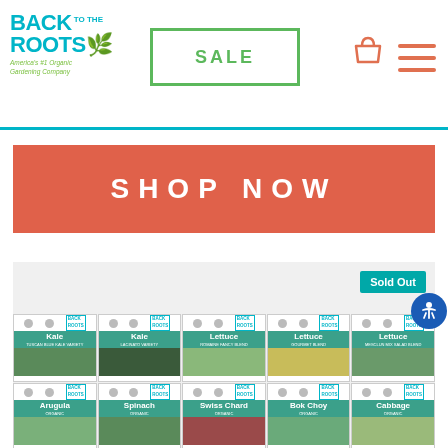[Figure (logo): Back to the Roots logo - America's #1 Organic Gardening Company]
SALE
[Figure (illustration): Shopping cart icon]
[Figure (illustration): Hamburger menu icon]
SHOP NOW
Sold Out
[Figure (photo): Product grid showing seed packets: Kale, Kale, Lettuce, Lettuce, Lettuce (row 1); Arugula, Spinach, Swiss Chard, Bok Choy, Cabbage (row 2)]
[Figure (illustration): Accessibility button (person in circle icon)]